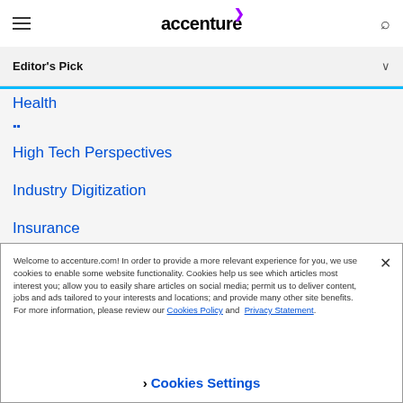accenture
Editor's Pick
Health
High Tech Perspectives
Industry Digitization
Insurance
Life Sciences
The Industrialist Outlook
Welcome to accenture.com! In order to provide a more relevant experience for you, we use cookies to enable some website functionality. Cookies help us see which articles most interest you; allow you to easily share articles on social media; permit us to deliver content, jobs and ads tailored to your interests and locations; and provide many other site benefits. For more information, please review our Cookies Policy and Privacy Statement.
Cookies Settings